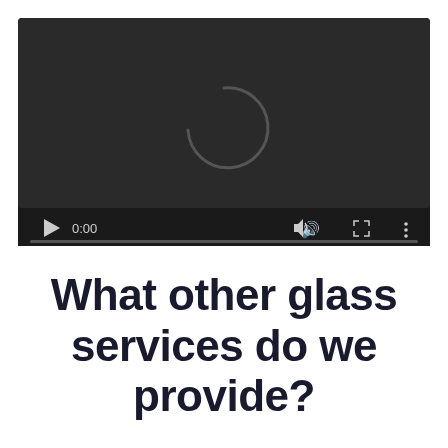[Figure (screenshot): Video player with dark background showing a loading spinner (partial circle arc) in the center. Controls bar at bottom shows play button, time 0:00, volume icon, fullscreen icon, and menu dots. Progress bar shown beneath controls.]
What other glass services do we provide?